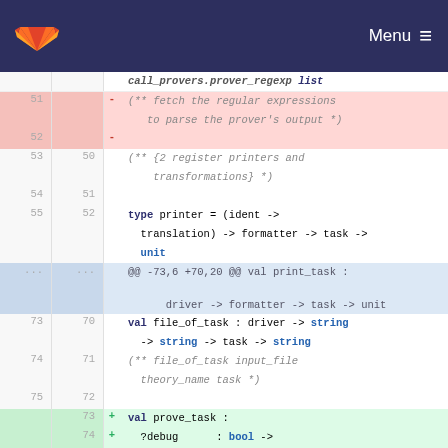GitLab logo | Menu
call_provers.prover_regexp list
51  - (** fetch the regular expressions
       to parse the prover's output *)
52  -
53  50  (** {2 register printers and transformations} *)
54  51
55  52  type printer = (ident -> translation) -> formatter -> task -> unit
... ...  @@ -73,6 +70,20 @@ val print_task : driver -> formatter -> task -> unit
73  70  val file_of_task : driver -> string -> string -> task -> string
74  71  (** file_of_task input_file theory_name task *)
75  72
    73  + val prove_task :
    74  +   ?debug    : bool ->
    75  +   command   : string ->